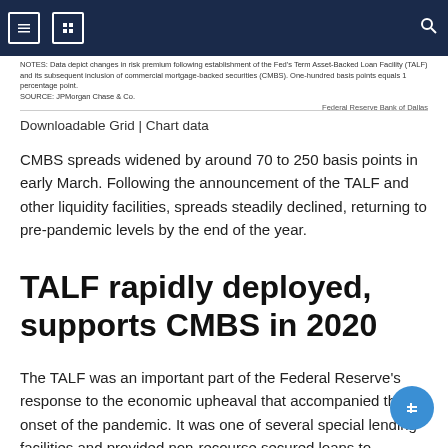Navigation bar with icons
NOTES: Data depict changes in risk premium following establishment of the Fed's Term Asset-Backed Loan Facility (TALF) and its subsequent inclusion of commercial mortgage-backed securities (CMBS). One-hundred basis points equals 1 percentage point.
SOURCE: JPMorgan Chase & Co.
Federal Reserve Bank of Dallas
Downloadable Grid | Chart data
CMBS spreads widened by around 70 to 250 basis points in early March. Following the announcement of the TALF and other liquidity facilities, spreads steadily declined, returning to pre-pandemic levels by the end of the year.
TALF rapidly deployed, supports CMBS in 2020
The TALF was an important part of the Federal Reserve's response to the economic upheaval that accompanied the onset of the pandemic. It was one of several special lending facilities and provided non-recourse secured loans to investors holding AAA-rated asset-backed securities